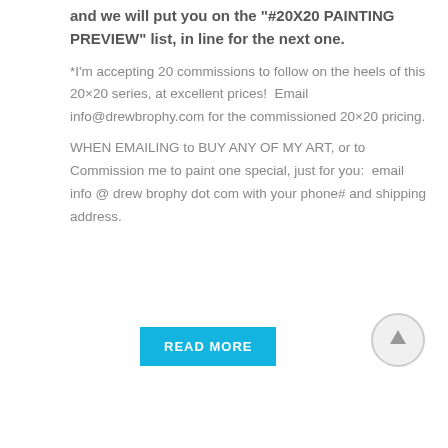and we will put you on the "#20X20 PAINTING PREVIEW" list, in line for the next one.
*I'm accepting 20 commissions to follow on the heels of this 20×20 series, at excellent prices!  Email info@drewbrophy.com for the commissioned 20×20 pricing.
WHEN EMAILING to BUY ANY OF MY ART, or to Commission me to paint one special, just for you:  email info @ drew brophy dot com with your phone# and shipping address.
READ MORE